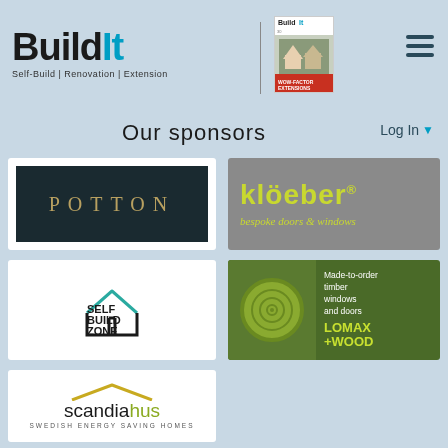[Figure (logo): Build It magazine website header with logo, magazine cover image, and hamburger menu icon]
Our sponsors
Log In
[Figure (logo): Potton logo - dark navy background with gold serif text POTTON]
[Figure (logo): Kloeber logo - grey background with lime green text klöeber and tagline bespoke doors & windows]
[Figure (logo): Self Build Zone logo - house outline icon with bold text SELF BUILD ZONE]
[Figure (logo): Lomax+Wood logo - green background with circular wood grain motif and text Made-to-order timber windows and doors, LOMAX+WOOD]
[Figure (logo): Scandiahus logo - white background with text scandiahus in black and olive green, SWEDISH ENERGY SAVING HOMES]